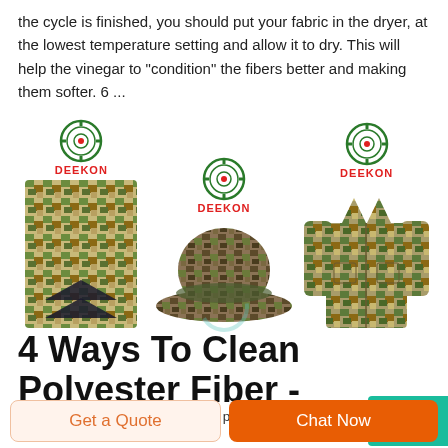the cycle is finished, you should put your fabric in the dryer, at the lowest temperature setting and allow it to dry. This will help the vinegar to "condition" the fibers better and making them softer. 6 ...
[Figure (photo): Three DEEKON branded military items: a camouflage rank patch/epaulette on the left, a camouflage boonie hat in the middle, and a camouflage military jacket on the right. Each item has the DEEKON logo (circular target emblem with red text) above it.]
4 Ways To Clean Polyester Fiber - WikiHow
To use water or a solvent to clean polyester fiber, put it in...